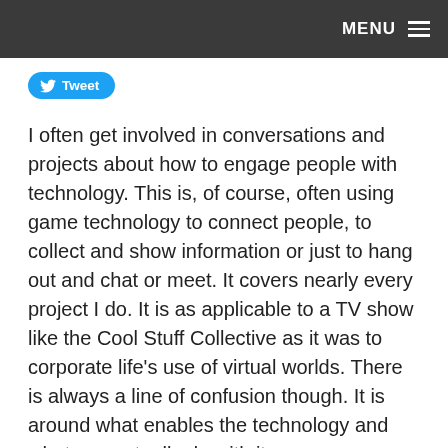MENU
Tweet
I often get involved in conversations and projects about how to engage people with technology. This is, of course, often using game technology to connect people, to collect and show information or just to hang out and chat or meet. It covers nearly every project I do. It is as applicable to a TV show like the Cool Stuff Collective as it was to corporate life’s use of virtual worlds. There is always a line of confusion though. It is around what enables the technology and what you actually do with it.
“A pack of cards is not a game”
Building with any technology, whether it is pieces of paper with pictures on or with virtual environments across a